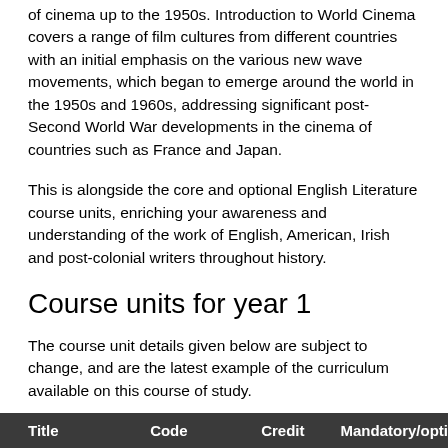of cinema up to the 1950s. Introduction to World Cinema covers a range of film cultures from different countries with an initial emphasis on the various new wave movements, which began to emerge around the world in the 1950s and 1960s, addressing significant post-Second World War developments in the cinema of countries such as France and Japan.
This is alongside the core and optional English Literature course units, enriching your awareness and understanding of the work of English, American, Irish and post-colonial writers throughout history.
Course units for year 1
The course unit details given below are subject to change, and are the latest example of the curriculum available on this course of study.
| Title | Code | Credit | Mandatory/opti… |
| --- | --- | --- | --- |